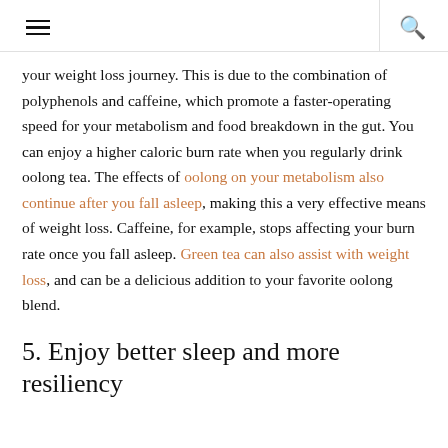☰  🔍
your weight loss journey. This is due to the combination of polyphenols and caffeine, which promote a faster-operating speed for your metabolism and food breakdown in the gut. You can enjoy a higher caloric burn rate when you regularly drink oolong tea. The effects of oolong on your metabolism also continue after you fall asleep, making this a very effective means of weight loss. Caffeine, for example, stops affecting your burn rate once you fall asleep. Green tea can also assist with weight loss, and can be a delicious addition to your favorite oolong blend.
5. Enjoy better sleep and more resiliency